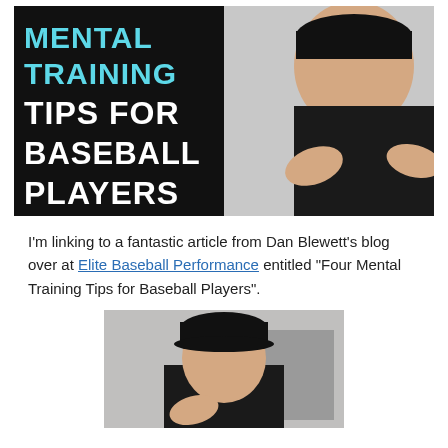[Figure (photo): Thumbnail image with dark background on left side showing bold text 'MENTAL TRAINING TIPS FOR BASEBALL PLAYERS' in white and cyan, with a man in a black cap and black shirt gesturing with his hands on the right side.]
I'm linking to a fantastic article from Dan Blewett's blog over at Elite Baseball Performance entitled "Four Mental Training Tips for Baseball Players".
[Figure (photo): A man in a black baseball cap and shirt, gesturing with one hand, photographed outdoors.]